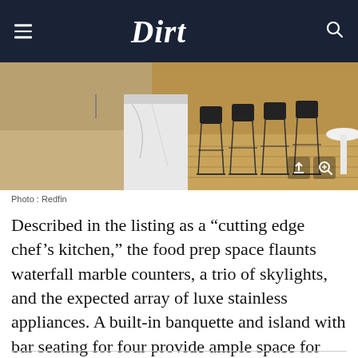Dirt
[Figure (photo): Kitchen interior showing bar stools at a marble island with wood floors and skylights]
Photo : Redfin
Described in the listing as a “cutting edge chef’s kitchen,” the food prep space flaunts waterfall marble counters, a trio of skylights, and the expected array of luxe stainless appliances. A built-in banquette and island with bar seating for four provide ample space for casual dining.